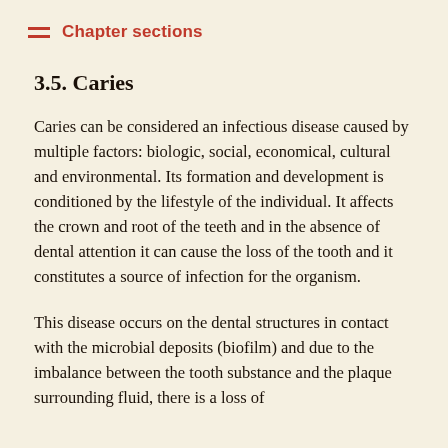Chapter sections
3.5. Caries
Caries can be considered an infectious disease caused by multiple factors: biologic, social, economical, cultural and environmental. Its formation and development is conditioned by the lifestyle of the individual. It affects the crown and root of the teeth and in the absence of dental attention it can cause the loss of the tooth and it constitutes a source of infection for the organism.
This disease occurs on the dental structures in contact with the microbial deposits (biofilm) and due to the imbalance between the tooth substance and the plaque surrounding fluid, there is a loss of